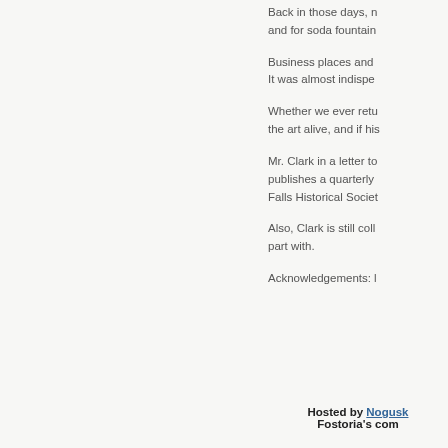Back in those days, n and for soda fountain
Business places and It was almost indispe
Whether we ever retu the art alive, and if his
Mr. Clark in a letter to publishes a quarterly Falls Historical Societ
Also, Clark is still coll part with.
Acknowledgements: l
Hosted by Nogusk Fostoria's com